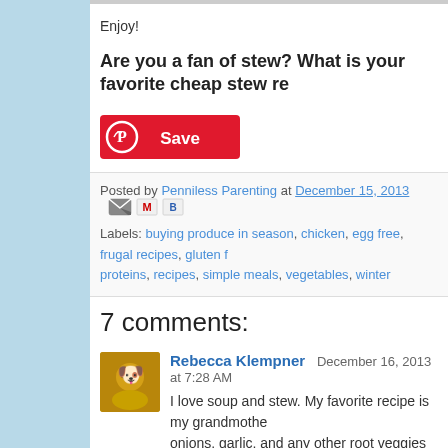Enjoy!
Are you a fan of stew? What is your favorite cheap stew recipe?
[Figure (other): Pinterest Save button - red rounded button with Pinterest logo and Save text]
Posted by Penniless Parenting at December 15, 2013
Labels: buying produce in season, chicken, egg free, frugal recipes, gluten f... proteins, recipes, simple meals, vegetables, winter
7 comments:
Rebecca Klempner  December 16, 2013 at 7:28 AM
I love soup and stew. My favorite recipe is my grandmother's onions, garlic, and any other root veggies you like (carrots, and I've heard some people even use beets) with salt, pep... Cover with water. You can make it in a crockpot, in a pot on t
Reply